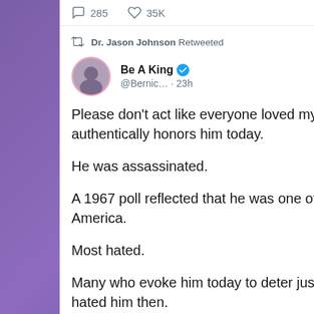[Figure (screenshot): Twitter/social media screenshot showing a retweet by Dr. Jason Johnson of a tweet by Be A King (@Bernic...) posted 23h ago, with engagement stats 285 comments and 35K likes, and tweet text about MLK Jr.]
285  35K
Dr. Jason Johnson Retweeted
Be A King @Bernic… · 23h
Please don't act like everyone loved my father then or authentically honors him today.

He was assassinated.

A 1967 poll reflected that he was one of the most hated men in America.

Most hated.

Many who evoke him today to deter justice would have likely hated him then.